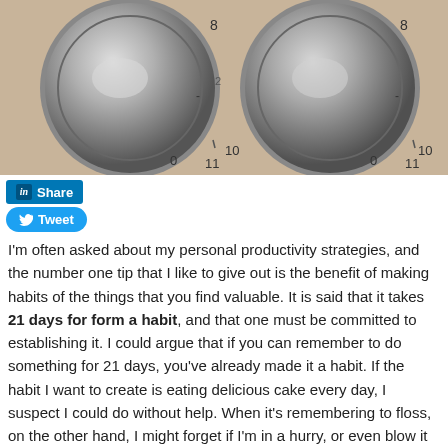[Figure (photo): Close-up photograph of two metallic control knobs on a panel, showing numbered dial markings (0, 8, 10, 11) around each knob.]
Share
Tweet
I'm often asked about my personal productivity strategies, and the number one tip that I like to give out is the benefit of making habits of the things that you find valuable. It is said that it takes 21 days for form a habit, and that one must be committed to establishing it. I could argue that if you can remember to do something for 21 days, you've already made it a habit. If the habit I want to create is eating delicious cake every day, I suspect I could do without help. When it's remembering to floss, on the other hand, I might forget if I'm in a hurry, or even blow it off. In this case, I find that checklists help.